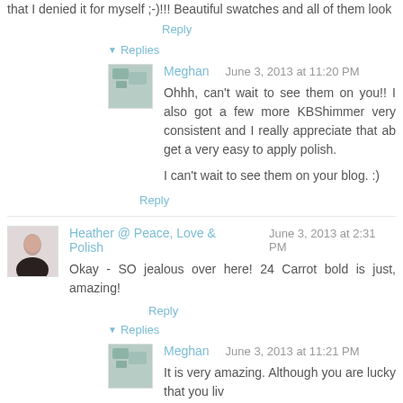that I denied it for myself ;-)!!! Beautiful swatches and all of them look
Reply
▼ Replies
Meghan   June 3, 2013 at 11:20 PM
Ohhh, can't wait to see them on you!! I also got a few more KBShimmer very consistent and I really appreciate that ab get a very easy to apply polish.
I can't wait to see them on your blog. :)
Reply
Heather @ Peace, Love & Polish   June 3, 2013 at 2:31 PM
Okay - SO jealous over here! 24 Carrot bold is just, amazing!
Reply
▼ Replies
Meghan   June 3, 2013 at 11:21 PM
It is very amazing. Although you are lucky that you liv